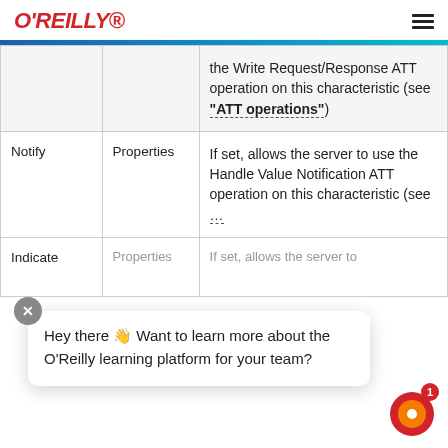O'REILLY
|  | Properties | Description |
| --- | --- | --- |
|  |  | the Write Request/Response ATT operation on this characteristic (see "ATT operations") |
| Notify | Properties | If set, allows the server to use the Handle Value Notification ATT operation on this characteristic (see "ATT operations") |
| Indicate | Properties | If set, allows the server to |
Hey there 👋 Want to learn more about the O'Reilly learning platform for your team?